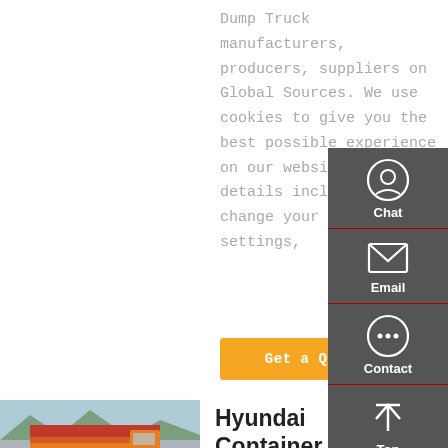Dump Truck manufacturers, producers, suppliers on Global Sources. We use cookies to give you the best possible experience on our website. For more details including how change your cookie settings,
Get a Quote
[Figure (screenshot): Sidebar widget with Chat, Email, Contact, and Top navigation icons on a dark grey background]
[Figure (photo): Orange dump truck (Hyundai) with Chinese text banners, parked with mountains in background]
Hyundai Container